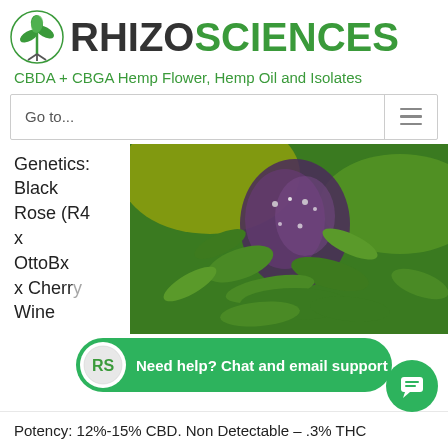[Figure (logo): Rhizo Sciences logo with plant/snake icon on left, RHIZO in dark gray and SCIENCES in green bold text]
CBDA + CBGA Hemp Flower, Hemp Oil and Isolates
Go to...
Genetics:
Black
Rose (R4
x
OttoBx
x Cherry
Wine
[Figure (photo): Close-up photo of a hemp/cannabis flower bud with green and purple coloring, covered in trichomes]
[Figure (infographic): Green chat support overlay banner reading: Need help? Chat and email support, with Rhizo Sciences icon and chat bubble button]
Potency: 12%-15% CBD. Non Detectable – .3% THC